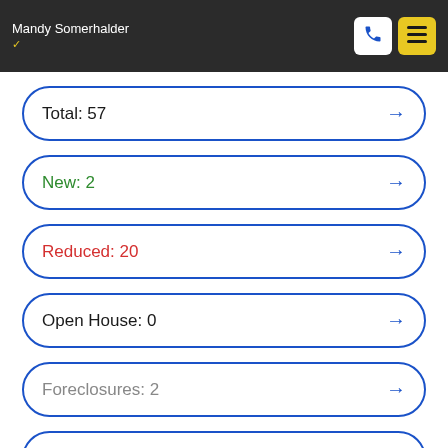Mandy Somerhalder
Total: 57
New: 2
Reduced: 20
Open House: 0
Foreclosures: 2
Short Sales: 0